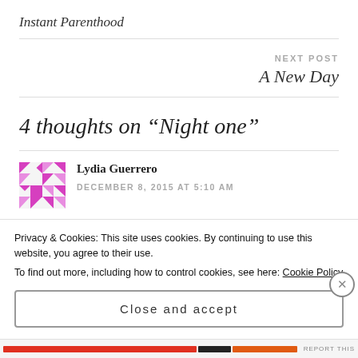Instant Parenthood
NEXT POST
A New Day
4 thoughts on “Night one”
Lydia Guerrero
DECEMBER 8, 2015 AT 5:10 AM
Privacy & Cookies: This site uses cookies. By continuing to use this website, you agree to their use.
To find out more, including how to control cookies, see here: Cookie Policy
Close and accept